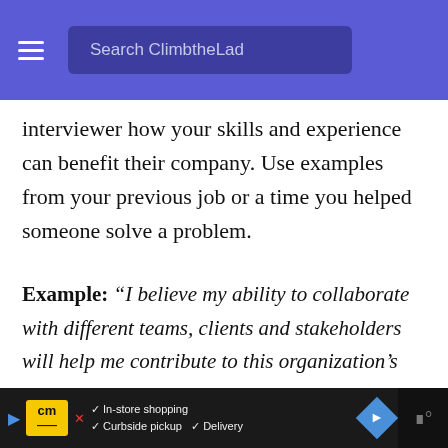Search ClimbtheLad
interviewer how your skills and experience can benefit their company. Use examples from your previous job or a time you helped someone solve a problem.
Example: “I believe my ability to collaborate with different teams, clients and stakeholders will help me contribute to this organization’s success. I have worked in many organizations where communication was lacking between departments, which led to problems later on. In
In-store shopping  Curbside pickup  Delivery